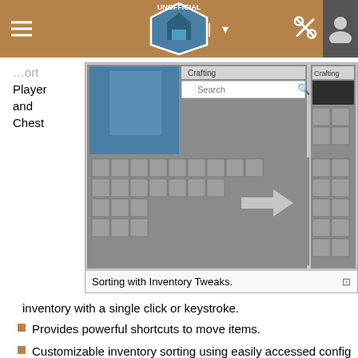UNOFFICIAL [navigation header]
Player and Chest
[Figure (screenshot): Screenshot of Minecraft inventory sorting with Inventory Tweaks mod, showing player inventory and chest inventory side by side with a search box and arrow indicating sorting direction.]
Sorting with Inventory Tweaks.
inventory with a single click or keystroke.
Provides powerful shortcuts to move items.
Customizable inventory sorting using easily accessed config files.
Comprehensive options interface.
A Chest inventory may be sorted using three methods: alphabetically or by type of object, in columns or in rows. Advanced sorting rules can be configured by clicking the ellipses button.
Replenishing [edit]